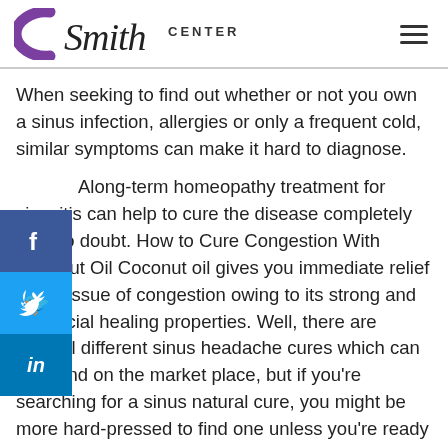Smith CENTER
When seeking to find out whether or not you own a sinus infection, allergies or only a frequent cold, similar symptoms can make it hard to diagnose.
A long-term homeopathy treatment for sinusitis can help to cure the disease completely with no doubt. How to Cure Congestion With Coconut Oil Coconut oil gives you immediate relief to the issue of congestion owing to its strong and beneficial healing properties. Well, there are several different sinus headache cures which can be found on the market place, but if you're searching for a sinus natural cure, you might be more hard-pressed to find one unless you're ready to stomach a neti pot or herbal oils. A sinus remedy can assist you if it's followed properly for no less than a week. You may try natural sinus infection remedies that have been proven to work.